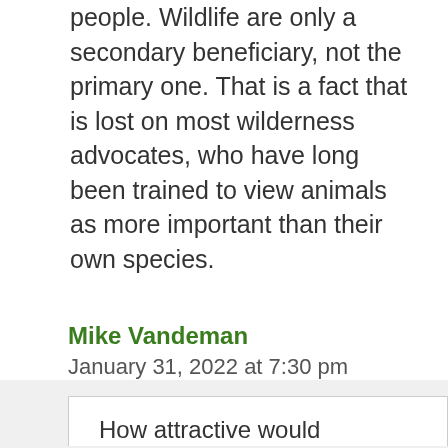people. Wildlife are only a secondary beneficiary, not the primary one. That is a fact that is lost on most wilderness advocates, who have long been trained to view animals as more important than their own species.
Reply
Mike Vandeman
January 31, 2022 at 7:30 pm
How attractive would